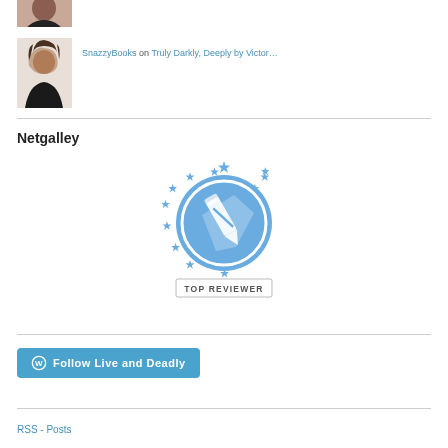[Figure (photo): Partially visible avatar photo at top, cropped woman face]
[Figure (photo): Avatar photo of woman with dark hair wearing black]
SnazzyBooks on Truly Darkly, Deeply by Victor…
Netgalley
[Figure (logo): NetGalley Top Reviewer badge — circular blue badge with pen/pencil icon surrounded by stars, text TOP REVIEWER at bottom]
Follow Live and Deadly
RSS - Posts